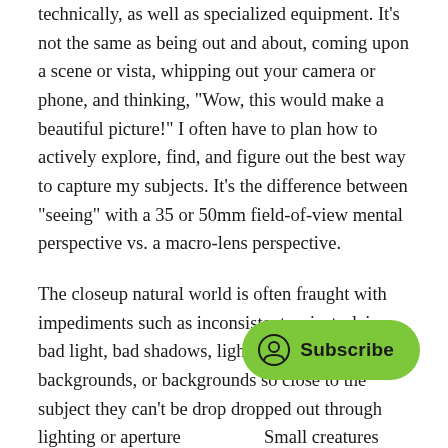technically, as well as specialized equipment. It's not the same as being out and about, coming upon a scene or vista, whipping out your camera or phone, and thinking, "Wow, this would make a beautiful picture!" I often have to plan how to actively explore, find, and figure out the best way to capture my subjects. It's the difference between "seeing" with a 35 or 50mm field-of-view mental perspective vs. a macro-lens perspective.
The closeup natural world is often fraught with impediments such as inconsistent or just-plain bad light, bad shadows, light streaks, distracting backgrounds, or backgrounds so close to the subject they can't be drop dropped out through lighting or aperture. Small creatures generally don't like being you and refuse to take posing direction or otherwise do your bidding so you, an interloper into their world, can get that perfect
[Figure (other): Green Subscribe button overlay with circular user icon on the right side of the page]